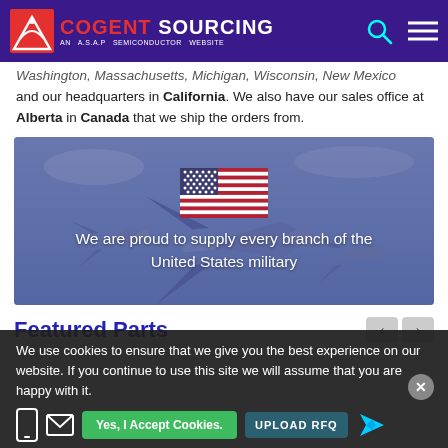COGENT SOURCING — AN A.S.A.P SEMICONDUCTOR WEBSITE
Washington, Massachusetts, Michigan, Wisconsin, New Mexico and our headquarters in California. We also have our sales office at Alberta in Canada that we ship the orders from.
[Figure (photo): Military jets in flight with US flag overlay and text 'We are proud to supply every branch of the United States military']
Featured Parts
We use cookies to ensure that we give you the best experience on our website. If you continue to use this site we will assume that you are happy with it.